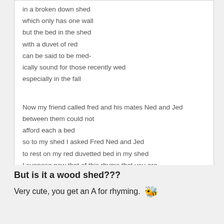in a broken down shed
which only has one wall
but the bed in the shed
with a duvet of red
can be said to be med-
ically sound for those recently wed
especially in the fall

Now my friend called fred and his mates Ned and Jed
between them could not
afford each a bed
so to my shed I asked Fred Ned and Jed
to rest on my red duvetted bed in my shed
I suppose now that of this rhyme that you are
spectacularly 'up - fed'
But is it a wood shed???
Very cute, you get an A for rhyming.